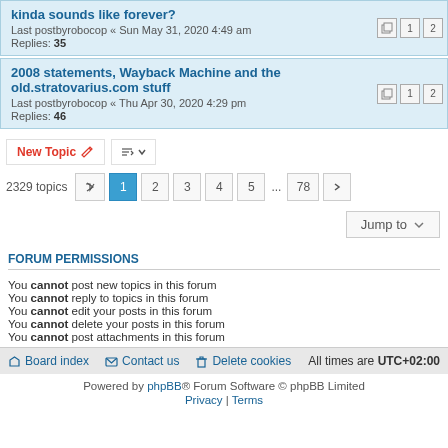kinda sounds like forever? Last postbyrobocop « Sun May 31, 2020 4:49 am Replies: 35
2008 statements, Wayback Machine and the old.stratovarius.com stuff Last postbyrobocop « Thu Apr 30, 2020 4:29 pm Replies: 46
New Topic | Sort | 2329 topics | 1 2 3 4 5 ... 78 >
Jump to
FORUM PERMISSIONS
You cannot post new topics in this forum
You cannot reply to topics in this forum
You cannot edit your posts in this forum
You cannot delete your posts in this forum
You cannot post attachments in this forum
Board index | Contact us | Delete cookies | All times are UTC+02:00
Powered by phpBB® Forum Software © phpBB Limited
Privacy | Terms